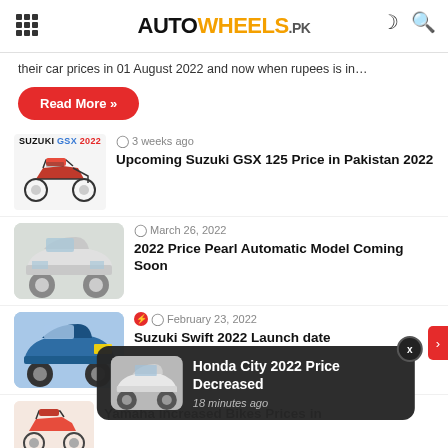AUTOWHEELS.PK
their car prices in 01 August 2022 and now when rupees is in…
Read More »
[Figure (photo): Suzuki GSX 2022 motorcycle image with brand label]
3 weeks ago
Upcoming Suzuki GSX 125 Price in Pakistan 2022
[Figure (photo): Silver compact hatchback car (Pearl model)]
March 26, 2022
2022 Price Pearl Automatic Model Coming Soon
[Figure (photo): Blue Suzuki Swift 2022 car]
February 23, 2022
Suzuki Swift 2022 Launch date
[Figure (photo): Red motorcycle bottom partial view]
Yamaha Increased Bikes Prices in
[Figure (photo): Honda City 2022 white sedan car notification thumbnail]
Honda City 2022 Price Decreased
18 minutes ago